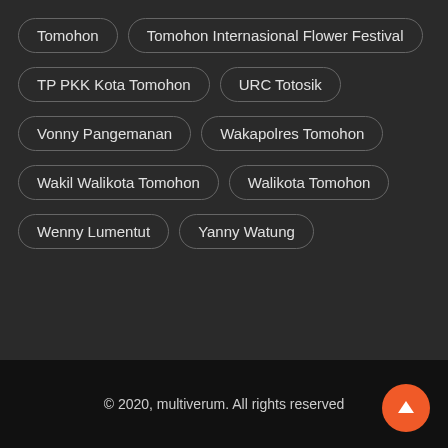Tomohon
Tomohon Internasional Flower Festival
TP PKK Kota Tomohon
URC Totosik
Vonny Pangemanan
Wakapolres Tomohon
Wakil Walikota Tomohon
Walikota Tomohon
Wenny Lumentut
Yanny Watung
© 2020, multiverum. All rights reserved